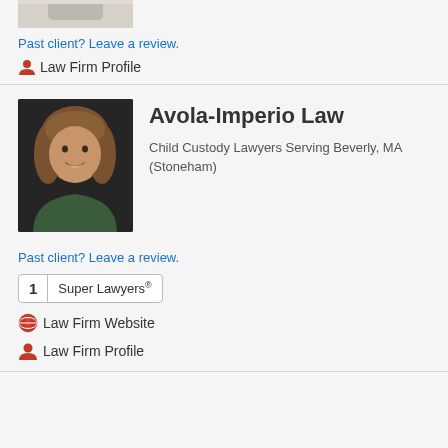[Figure (photo): Partial photo of a person (top cropped), only lower portion visible]
Past client? Leave a review.
🧑 Law Firm Profile
[Figure (photo): Professional headshot of a woman with curly hair, smiling, against dark background]
Avola-Imperio Law
Child Custody Lawyers Serving Beverly, MA (Stoneham)
Past client? Leave a review.
1  Super Lawyers®
🌐 Law Firm Website
🧑 Law Firm Profile